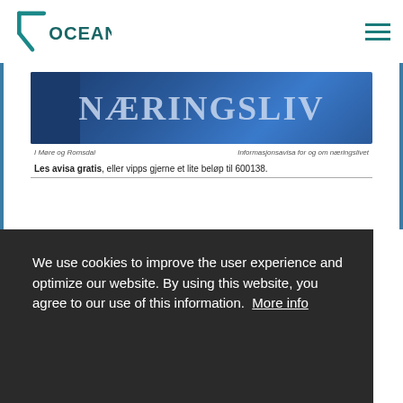[Figure (logo): 7Ocean company logo with teal/blue stylized number 7 and 'OCEAN' text]
[Figure (screenshot): Newspaper banner for 'NÆRINGSLIV' in blue gradient, with subtitle 'I Møre og Romsdal' and tagline 'Informasjonsavisa for og om næringslivet']
Les avisa gratis, eller vipps gjerne et lite beløp til 600138.
AVISEN NÆRINGSLIV I MØRE OG ROMSDAL NR 4, 2021
We use cookies to improve the user experience and optimize our website. By using this website, you agree to our use of this information.  More info
7ocean bidrar gjerne sammen med både utstyrs- og software-leverandører for å levere komplette løsninger. Se både annonse og artikkel i avisen NÆRINGSLIV nr 4.2021.
Accept and close